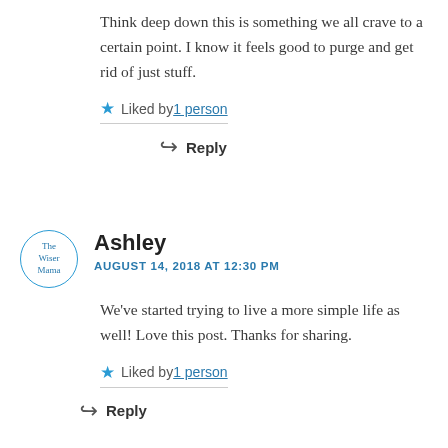Think deep down this is something we all crave to a certain point. I know it feels good to purge and get rid of just stuff.
Liked by 1 person
Reply
Ashley
AUGUST 14, 2018 AT 12:30 PM
We've started trying to live a more simple life as well! Love this post. Thanks for sharing.
Liked by 1 person
Reply